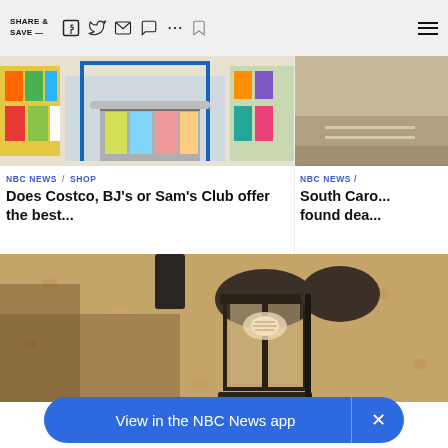SHARE & SAVE —
[Figure (screenshot): NBC News webpage screenshot showing share toolbar with social media icons (Facebook, Twitter, email, message, more, bookmark) and hamburger menu]
[Figure (photo): Photo of a grocery store aisle with shopping cart and products on shelves]
NBC NEWS / SHOP
Does Costco, BJ's or Sam's Club offer the best...
[Figure (photo): Partial photo, road visible]
NBC NEWS /
South Caro... found dea...
[Figure (photo): Close-up photo of a black outdoor wall lantern mounted on a textured stucco wall]
View in the NBC News app